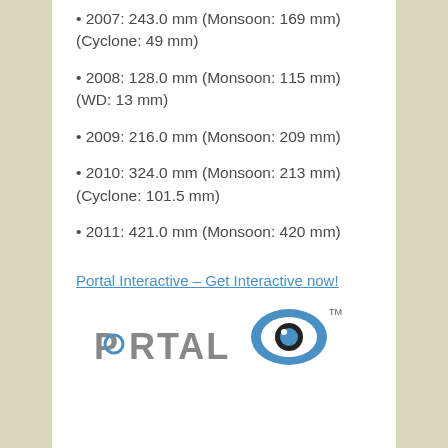2007: 243.0 mm (Monsoon: 169 mm)(Cyclone: 49 mm)
2008: 128.0 mm (Monsoon: 115 mm)(WD: 13 mm)
2009: 216.0 mm (Monsoon: 209 mm)
2010: 324.0 mm (Monsoon: 213 mm)(Cyclone: 101.5 mm)
2011: 421.0 mm (Monsoon: 420 mm)
Portal Interactive – Get Interactive now!
[Figure (logo): Portal Interactive logo with eye icon and trademark symbol]